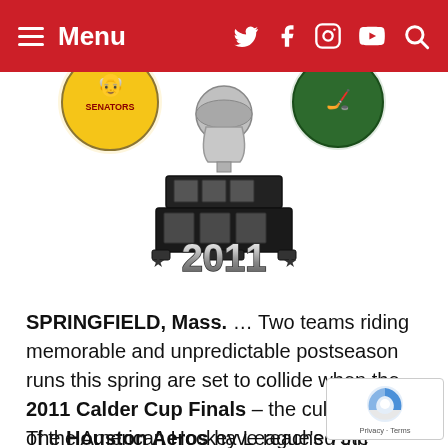Menu
[Figure (illustration): 2011 Calder Cup Finals trophy illustration with Senators and team logos flanking a silver trophy on a black pedestal base, with '2011' text in metallic silver below and star decorations]
SPRINGFIELD, Mass. … Two teams riding memorable and unpredictable postseason runs this spring are set to collide when the 2011 Calder Cup Finals – the culmination of the American Hockey League's 75th anniversary season – get underway on Friday night.
The Houston Aeros have reached the Calder Cup